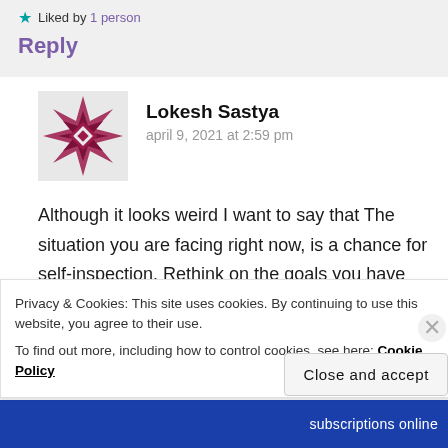★ Liked by 1 person
Reply
Lokesh Sastya
april 9, 2021 at 2:59 pm
Although it looks weird I want to say that The situation you are facing right now, is a chance for self-inspection. Rethink on the goals you have decided for yourself.
Privacy & Cookies: This site uses cookies. By continuing to use this website, you agree to their use.
To find out more, including how to control cookies, see here: Cookie Policy
Close and accept